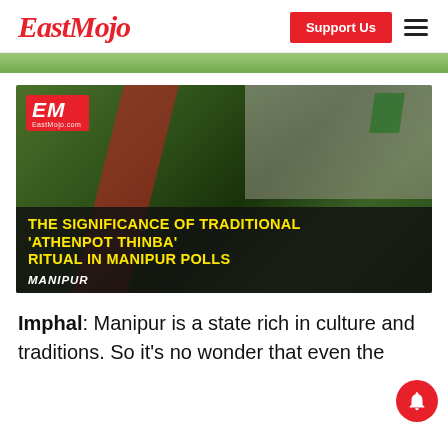EastMojo
[Figure (photo): Women carrying large bundles of green vegetables/leaves on their heads at what appears to be a rally or procession in Manipur, India. EastMojo logo badge visible in top-left corner of the image. Text overlay at bottom reads THE SIGNIFICANCE OF TRADITIONAL 'ATHENPOT THINBA' RITUAL IN MANIPUR POLLS with MANIPUR tag.]
Imphal: Manipur is a state rich in culture and traditions. So it's no wonder that even the